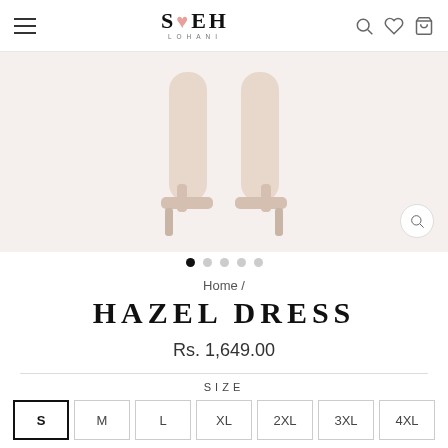SNEH LOHANI — site header with hamburger menu, logo, search, wishlist, cart icons
[Figure (photo): Close-up product photo of a woman's legs wearing heeled sandals, on a light pink/beige background, with a zoom/magnify button overlay]
● ○ ○ ○ ○ (carousel dots, first dot active)
Home /
HAZEL DRESS
Rs. 1,649.00
SIZE
S  M  L  XL  2XL  3XL  4XL (size selector buttons, S selected)